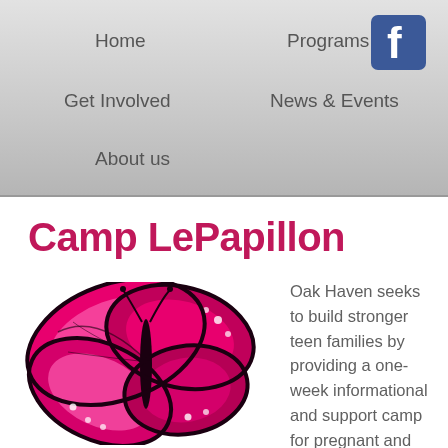Home | Programs | Get Involved | News & Events | About us
Camp LePapillon
[Figure (illustration): Pink and black monarch-style butterfly illustration]
Oak Haven seeks to build stronger teen families by providing a one-week informational and support camp for pregnant and parenting teens and